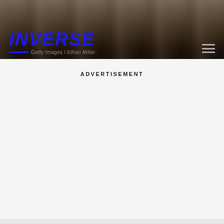[Figure (photo): Dark background photo showing a surface, partially visible at the top of the page. Inverse logo overlay with navigation bar.]
INVERSE
Getty Images / Ethan Miller
ADVERTISEMENT